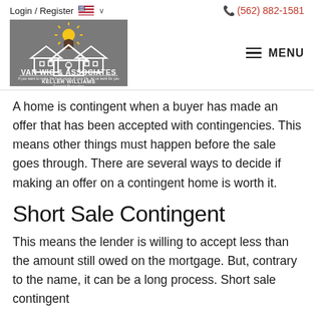Login / Register  🇺🇸 ∨    (562) 882-1581
[Figure (logo): Van Wig & Associates Keller Williams Coastal Properties logo on grey background with house/keyhole icon and sunburst]
A home is contingent when a buyer has made an offer that has been accepted with contingencies. This means other things must happen before the sale goes through. There are several ways to decide if making an offer on a contingent home is worth it.
Short Sale Contingent
This means the lender is willing to accept less than the amount still owed on the mortgage. But, contrary to the name, it can be a long process. Short sale contingent